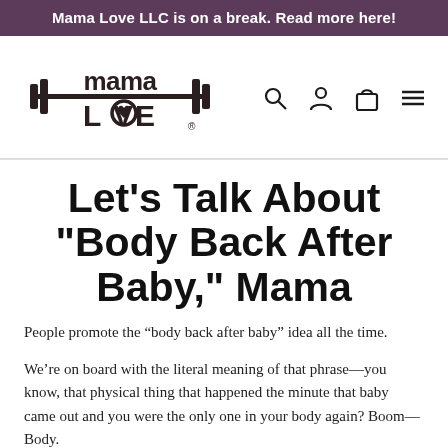Mama Love LLC is on a break. Read more here!
[Figure (logo): Mama Love LLC logo — barbell with text 'mama' above and 'LOVE' below with a heart in the O, registered trademark symbol]
Let's Talk About "Body Back After Baby," Mama
People promote the “body back after baby” idea all the time.
We’re on board with the literal meaning of that phrase—you know, that physical thing that happened the minute that baby came out and you were the only one in your body again? Boom—Body.